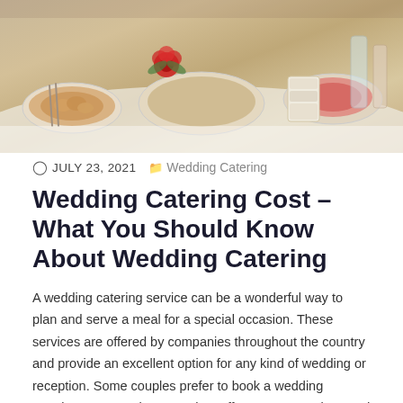[Figure (photo): A photo of a wedding catering buffet spread with various dishes, platters of food, red flowers, and decorative serving ware on a white tablecloth.]
JULY 23, 2021   Wedding Catering
Wedding Catering Cost – What You Should Know About Wedding Catering
A wedding catering service can be a wonderful way to plan and serve a meal for a special occasion. These services are offered by companies throughout the country and provide an excellent option for any kind of wedding or reception. Some couples prefer to book a wedding catering company because they offer so many options and the company or chef they choose to work with has years of experience.
Wedding Catering Cost